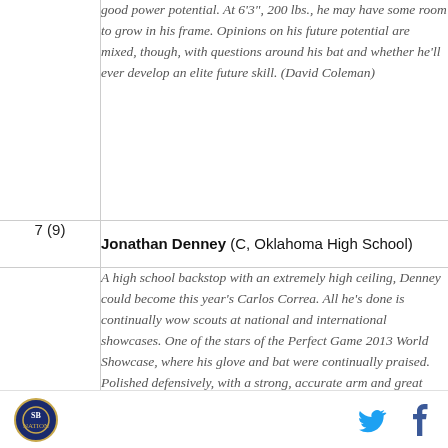| # | Player |
| --- | --- |
|  | good power potential. At 6'3", 200 lbs., he may have some room to grow in his frame. Opinions on his future potential are mixed, though, with questions around his bat and whether he'll ever develop an elite future skill. (David Coleman) |
| 7 (9) | Jonathan Denney (C, Oklahoma High School)
A high school backstop with an extremely high ceiling, Denney could become this year's Carlos Correa. All he's done is continually wow scouts at national and international showcases. One of the stars of the Perfect Game 2013 World Showcase, where his glove and bat were continually praised. Polished defensively, with a strong, accurate arm and great footwork. His hitting mechanics don't have a lot of moving parts - a short swing with lift and power. (Anthony Boyer) |
| 8 (5) | Dunc Stonek (RHP, University of Arkansas) |
[logo] [twitter] [facebook]